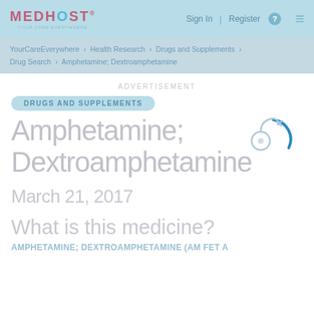MEDHOST | Sign In | Register | ☰
YourCareEverywhere > Health Research > Drugs and Supplements > Drug Search > Amphetamine; Dextroamphetamine
ADVERTISEMENT
DRUGS AND SUPPLEMENTS
Amphetamine; Dextroamphetamine
March 21, 2017
What is this medicine?
AMPHETAMINE; DEXTROAMPHETAMINE (am FET a